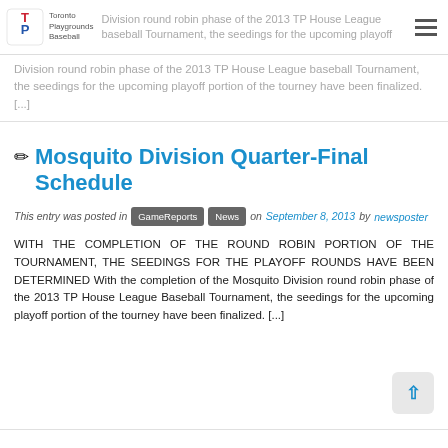Toronto Playgrounds Baseball
Division round robin phase of the 2013 TP House League baseball Tournament, the seedings for the upcoming playoff portion of the tourney have been finalized. [...]
Mosquito Division Quarter-Final Schedule
This entry was posted in GameReports News on September 8, 2013 by newsposter
WITH THE COMPLETION OF THE ROUND ROBIN PORTION OF THE TOURNAMENT, THE SEEDINGS FOR THE PLAYOFF ROUNDS HAVE BEEN DETERMINED With the completion of the Mosquito Division round robin phase of the 2013 TP House League Baseball Tournament, the seedings for the upcoming playoff portion of the tourney have been finalized. [...]